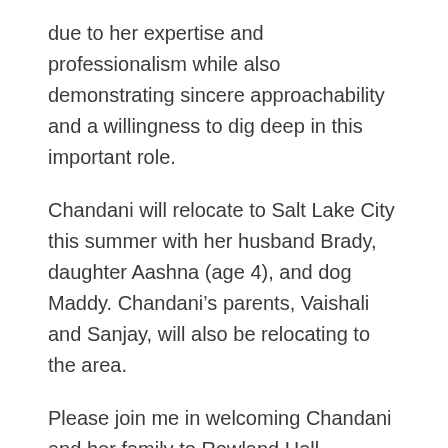due to her expertise and professionalism while also demonstrating sincere approachability and a willingness to dig deep in this important role.
Chandani will relocate to Salt Lake City this summer with her husband Brady, daughter Aashna (age 4), and dog Maddy. Chandani’s parents, Vaishali and Sanjay, will also be relocating to the area.
Please join me in welcoming Chandani and her family to Rowland Hall.
Sincerely,
[Figure (illustration): Handwritten cursive signature reading M. Gee]
Mich...